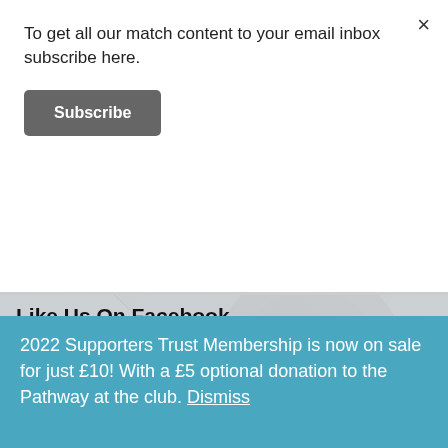To get all our match content to your email inbox subscribe here.
Subscribe
Like Us On Facebook
Follow Me On Twitter
Tweets from @SalfordRLFC_ST
Follow
Salford RLFC ST Retweeted
2022 Supporters Trust Membership is now on sale for just £10! With a £5 optional donation to the Pathway at the club. Dismiss